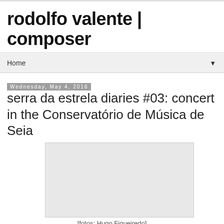rodolfo valente | composer
Home
Wednesday, May 4, 2016
serra da estrela diaries #03: concert in the Conservatório de Música de Seia
[Figure (photo): A light gray rectangular photo placeholder]
[fotos: Hugo Figueiredo]